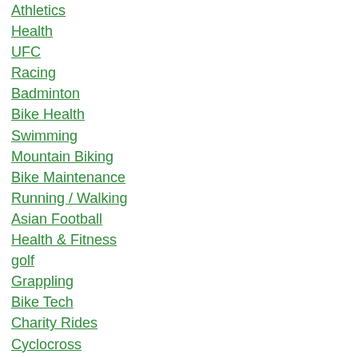Athletics
Health
UFC
Racing
Badminton
Bike Health
Swimming
Mountain Biking
Bike Maintenance
Running / Walking
Asian Football
Health & Fitness
golf
Grappling
Bike Tech
Charity Rides
Cyclocross
Ride Touring
Dream FC
Boxing